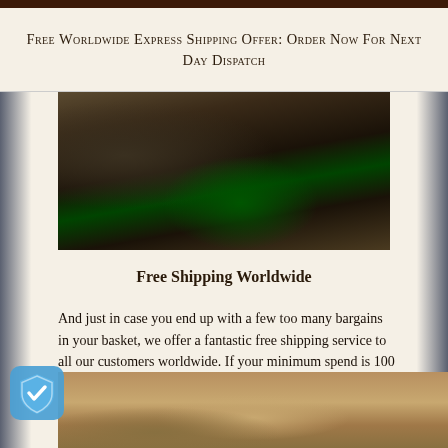Free Worldwide Express Shipping Offer: Order Now For Next Day Dispatch
[Figure (photo): Dark overhead photo showing pillows or cushions on a bed with what appears to be luggage tags, with a green light reflection visible]
Free Shipping Worldwide
And just in case you end up with a few too many bargains in your basket, we offer a fantastic free shipping service to all our customers worldwide. If your minimum spend is 100 Euro or more then we will ship everything to your home hassle free and at no extra cost.
[Figure (photo): Bottom strip showing what appears to be hanging wine glasses or similar items in a warm gold/amber tone]